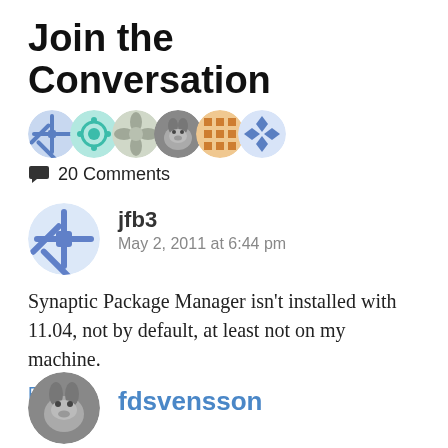Join the Conversation
[Figure (illustration): Row of circular user avatar icons — decorative patterns (blue snowflake, teal circle, flower, wolf photo, orange grid, blue diamond grid)]
20 Comments
[Figure (illustration): Circular user avatar with blue/purple snowflake-like decorative pattern for user jfb3]
jfb3
May 2, 2011 at 6:44 pm
Synaptic Package Manager isn't installed with 11.04, not by default, at least not on my machine.
Reply
[Figure (photo): Circular photo of a wolf for user fdsvensson]
fdsvensson